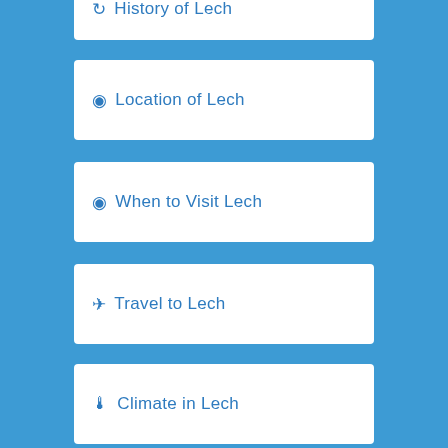History of Lech
Location of Lech
When to Visit Lech
Travel to Lech
Climate in Lech
Economy of Lech
(partially visible)